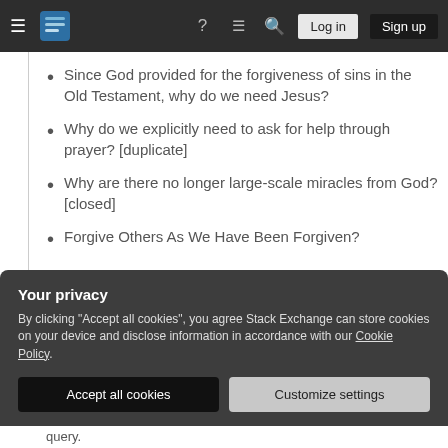Stack Exchange navigation bar with hamburger, logo, help, chat, search, log in, sign up
Since God provided for the forgiveness of sins in the Old Testament, why do we need Jesus?
Why do we explicitly need to ask for help through prayer? [duplicate]
Why are there no longer large-scale miracles from God? [closed]
Forgive Others As We Have Been Forgiven?
Your privacy
By clicking "Accept all cookies", you agree Stack Exchange can store cookies on your device and disclose information in accordance with our Cookie Policy.
query.